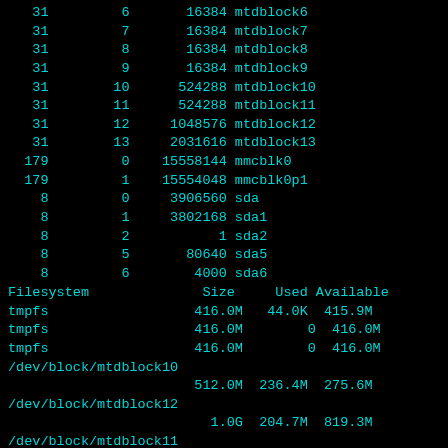| major | minor | blocks | name |
| --- | --- | --- | --- |
| 31 | 6 | 16384 | mtdblock6 |
| 31 | 7 | 16384 | mtdblock7 |
| 31 | 8 | 16384 | mtdblock8 |
| 31 | 9 | 16384 | mtdblock9 |
| 31 | 10 | 524288 | mtdblock10 |
| 31 | 11 | 524288 | mtdblock11 |
| 31 | 12 | 1048576 | mtdblock12 |
| 31 | 13 | 2031616 | mtdblock13 |
| 179 | 0 | 15558144 | mmcblk0 |
| 179 | 1 | 15554048 | mmcblk0p1 |
| 8 | 0 | 3906560 | sda |
| 8 | 1 | 3802168 | sda1 |
| 8 | 2 | 1 | sda2 |
| 8 | 5 | 80640 | sda5 |
| 8 | 6 | 4000 | sda6 |
| 8 | 7 | 8032 | sda7 |
| Filesystem | Size | Used | Available |
| --- | --- | --- | --- |
| tmpfs | 416.0M | 44.0K | 415.9... |
| tmpfs | 416.0M | 0 | 416.0... |
| tmpfs | 416.0M | 0 | 416.0... |
| /dev/block/mtdblock10 | 512.0M | 236.4M | 275.6... |
| /dev/block/mtdblock12 | 1.0G | 204.7M | 819.3... |
| /dev/block/mtdblock11 | 512.0M | 9.0M | 503.0... |
| /dev/fuse | 1.9G | 23.3M | 1.9... |